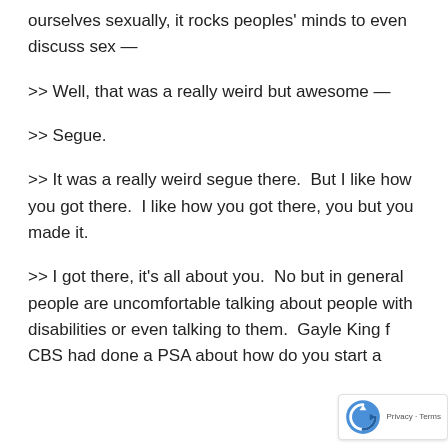ourselves sexually, it rocks peoples' minds to even discuss sex —
>> Well, that was a really weird but awesome —
>> Segue.
>> It was a really weird segue there.  But I like how you got there.  I like how you got there, you but you made it.
>> I got there, it's all about you.  No but in general people are uncomfortable talking about people with disabilities or even talking to them.  Gayle King f CBS had done a PSA about how do you start a